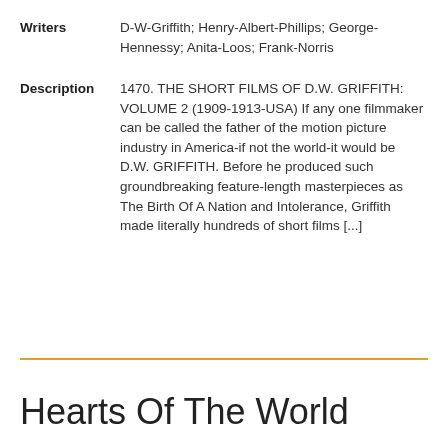Writers: D-W-Griffith; Henry-Albert-Phillips; George-Hennessy; Anita-Loos; Frank-Norris
Description: 1470. THE SHORT FILMS OF D.W. GRIFFITH: VOLUME 2 (1909-1913-USA) If any one filmmaker can be called the father of the motion picture industry in America-if not the world-it would be D.W. GRIFFITH. Before he produced such groundbreaking feature-length masterpieces as The Birth Of A Nation and Intolerance, Griffith made literally hundreds of short films [...]
Hearts Of The World